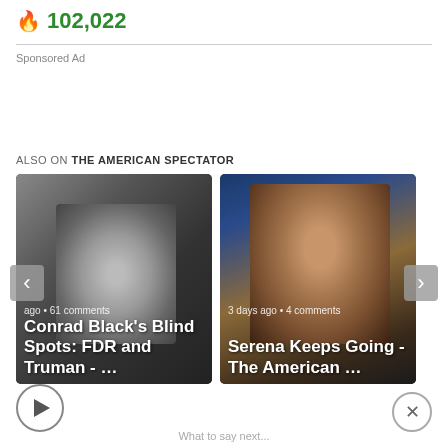🔥 102,022
Sponsored Ad
ALSO ON THE AMERICAN SPECTATOR
[Figure (screenshot): Two article cards from The American Spectator. Left card: black-and-white photo of a man at a desk with navigation arrows, text 'ago • 61 comments' and title 'Conrad Black's Blind Spots: FDR and Truman - ...'. Right card: color photo of a woman (Serena Williams), text '3 days ago • 4 comments' and title 'Serena Keeps Going - The American ...']
What to say next...